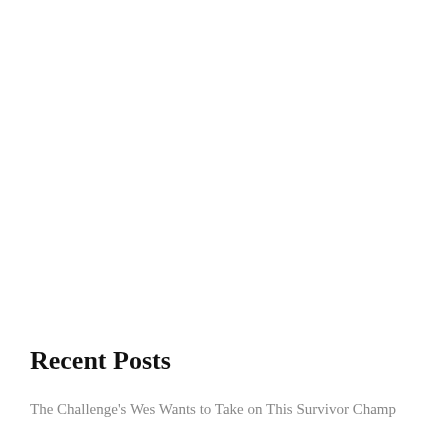Recent Posts
The Challenge's Wes Wants to Take on This Survivor Champ